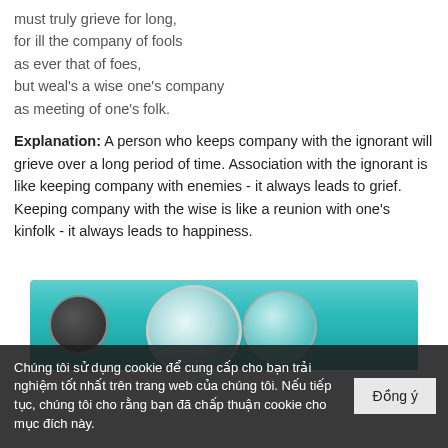must truly grieve for long,
for ill the company of fools
as ever that of foes,
but weal's a wise one's company
as meeting of one's folk.
Explanation: A person who keeps company with the ignorant will grieve over a long period of time. Association with the ignorant is like keeping company with enemies - it always leads to grief. Keeping company with the wise is like a reunion with one's kinfolk - it always leads to happiness.
[Figure (photo): Decorative image showing teal/turquoise ceramic or glass bowls/plates from above, partially cut off at bottom of page]
Chúng tôi sử dụng cookie để cung cấp cho bạn trải nghiệm tốt nhất trên trang web của chúng tôi. Nếu tiếp tục, chúng tôi cho rằng bạn đã chấp thuận cookie cho mục đích này.